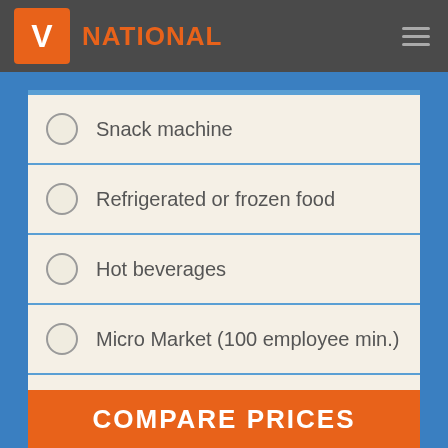V NATIONAL
Snack machine
Refrigerated or frozen food
Hot beverages
Micro Market (100 employee min.)
Other
COMPARE PRICES